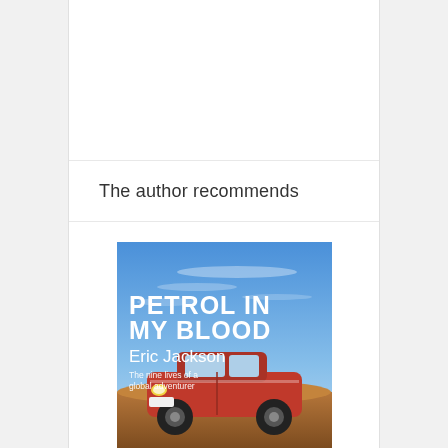The author recommends
[Figure (illustration): Book cover for 'Petrol in My Blood' by Eric Jackson. Blue sky background with bold white text 'PETROL IN MY BLOOD', author name 'Eric Jackson' in white, subtitle 'The nine lives of a global adventurer' in smaller white text, and a vintage red rally car in the foreground.]